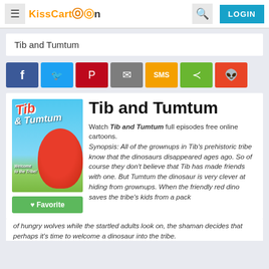KissCartoon — LOGIN
Tib and Tumtum
[Figure (screenshot): Social sharing buttons: Facebook, Twitter, Pinterest, Email, SMS, Share, Reddit]
[Figure (illustration): Tib and Tumtum cartoon show cover art showing a boy and a red dinosaur with text 'Welcome to the Tribe']
Tib and Tumtum
Watch Tib and Tumtum full episodes free online cartoons.
Synopsis: All of the grownups in Tib's prehistoric tribe know that the dinosaurs disappeared ages ago. So of course they don't believe that Tib has made friends with one. But Tumtum the dinosaur is very clever at hiding from grownups. When the friendly red dino saves the tribe's kids from a pack of hungry wolves while the startled adults look on, the shaman decides that perhaps it's time to welcome a dinosaur into the tribe.